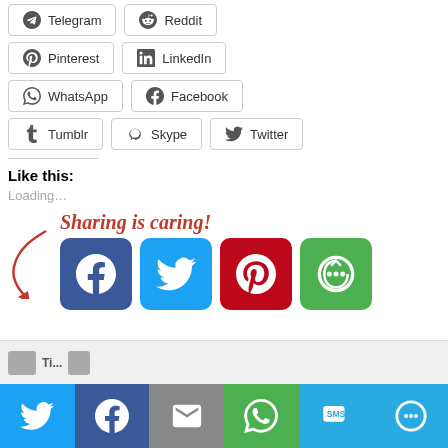Telegram
Reddit
Pinterest
LinkedIn
WhatsApp
Facebook
Tumblr
Skype
Twitter
Like this:
Loading…
[Figure (infographic): Sharing is caring! banner with arrow and social media icon buttons: Facebook (blue), Twitter (light blue), Pinterest (red), More/Share (green)]
[Figure (infographic): Bottom social sharing toolbar with Twitter, Facebook, Email, WhatsApp, SMS, More icons]